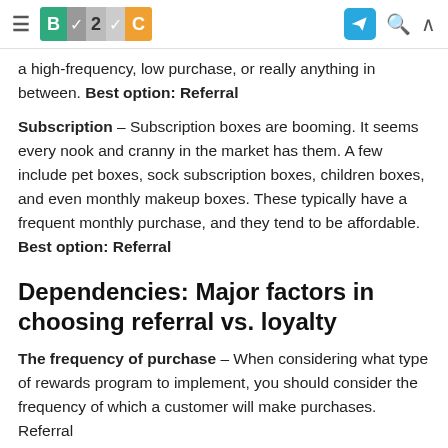B2C [navigation bar with logo, telegram icon, search, and caret]
a high-frequency, low purchase, or really anything in between. Best option: Referral
Subscription – Subscription boxes are booming. It seems every nook and cranny in the market has them. A few include pet boxes, sock subscription boxes, children boxes, and even monthly makeup boxes. These typically have a frequent monthly purchase, and they tend to be affordable. Best option: Referral
Dependencies: Major factors in choosing referral vs. loyalty
The frequency of purchase – When considering what type of rewards program to implement, you should consider the frequency of which a customer will make purchases. Referral